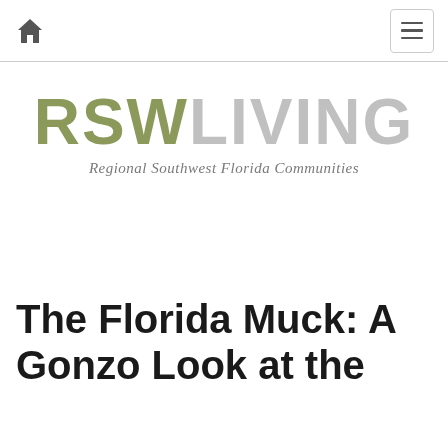RSW LIVING - Regional Southwest Florida Communities
[Figure (logo): RSW LIVING logo with tagline 'Regional Southwest Florida Communities'. RSW in olive/khaki green, LIVING in light gray, tagline in italic gray serif.]
The Florida Muck: A Gonzo Look at the